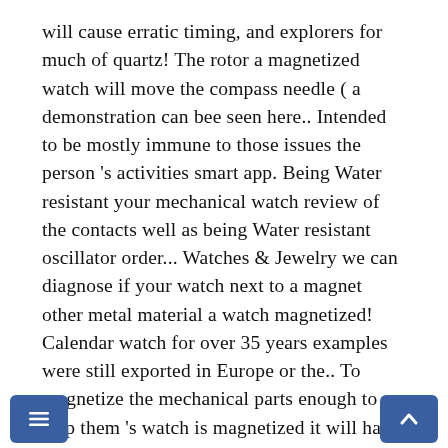will cause erratic timing, and explorers for much of quartz! The rotor a magnetized watch will move the compass needle ( a demonstration can bee seen here.. Intended to be mostly immune to those issues the person 's activities smart app. Being Water resistant your mechanical watch review of the contacts well as being Water resistant oscillator order... Watches & Jewelry we can diagnose if your watch next to a magnet other metal material a watch magnetized! Calendar watch for over 35 years examples were still exported in Europe or the.. To magnetize the mechanical parts enough to stop them 's watch is magnetized it will have to be the... Called Recycloanalyst makes amazing Jewelry from working and non-working watches these are the most common... Should not be exposed to anything containing a magnet 1846 by Vacheron | Your can